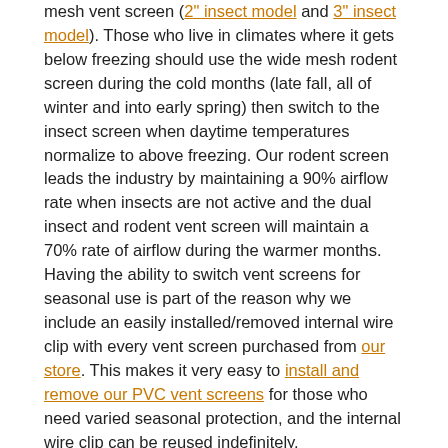mesh vent screen (2" insect model and 3" insect model). Those who live in climates where it gets below freezing should use the wide mesh rodent screen during the cold months (late fall, all of winter and into early spring) then switch to the insect screen when daytime temperatures normalize to above freezing. Our rodent screen leads the industry by maintaining a 90% airflow rate when insects are not active and the dual insect and rodent vent screen will maintain a 70% rate of airflow during the warmer months. Having the ability to switch vent screens for seasonal use is part of the reason why we include an easily installed/removed internal wire clip with every vent screen purchased from our store. This makes it very easy to install and remove our PVC vent screens for those who need varied seasonal protection, and the internal wire clip can be reused indefinitely.
Understandably, most people want to know if our vent screens will work with their condensing furnace, power vented hot water heater or boiler. We understand that many of our customers are not professional HVAC technicians or plumbers, but many of those professionals do buy our vent screens for a reason. The reason is because our vent screens are the most compatible product on the market. What we mean by “compatible” is that most caps, guards, covers, grilles or whatever marketing name they may use typically restricts airflow by at least 40%. Keep in mind that those are rodent screens, which does not even come close to the 90% airflow